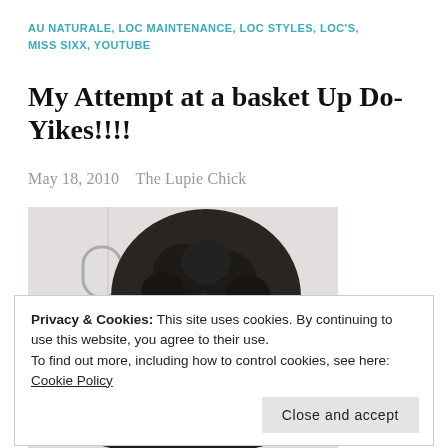AU NATURALE, LOC MAINTENANCE, LOC STYLES, LOC'S, MISS SIXX, YOUTUBE
My Attempt at a basket Up Do-Yikes!!!!
May 18, 2010    The Lupie Chick
[Figure (photo): Back view of a person with dark dreadlocks/locs styled in an updo attempt, photographed in a room with white walls]
Privacy & Cookies: This site uses cookies. By continuing to use this website, you agree to their use.
To find out more, including how to control cookies, see here: Cookie Policy
Close and accept
[Figure (photo): Partial photo at bottom of page showing dark hair]